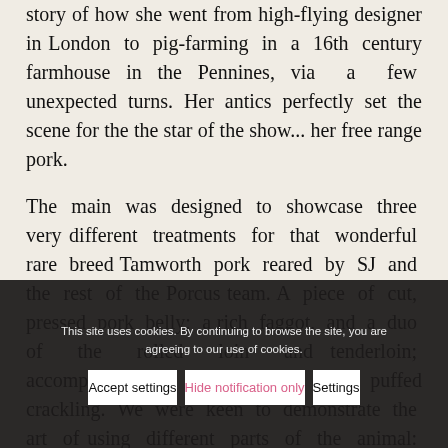story of how she went from high-flying designer in London to pig-farming in a 16th century farmhouse in the Pennines, via a few unexpected turns. Her antics perfectly set the scene for the the star of the show... her free range pork.
The main was designed to showcase three very different treatments for that wonderful rare breed Tamworth pork reared by SJ and the rest of the Porcus team. A piece of cut, pressed pork belly; a rich faggot, and a duo of the rolled loin and tenderloin; accompanied by a slice of crisp puffed crackling. We were keen to demonstrate the art of using different parts of the animal: choice cuts s[ide-by-side with] traditional cut[s] l[ike those] such as bloo[d]
This site uses cookies. By continuing to browse the site, you are agreeing to our use of cookies.
Accept settings
Hide notification only
Settings